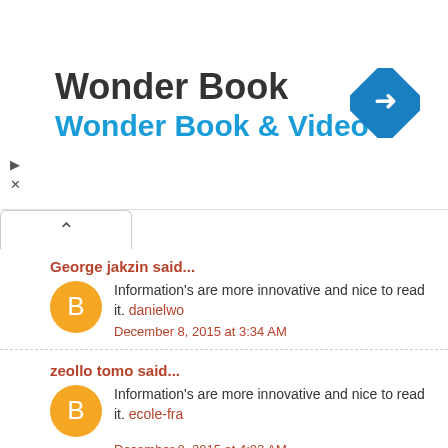[Figure (other): Ad banner for Wonder Book / Wonder Book & Video with blue diamond navigation icon]
George jakzin said...
Information's are more innovative and nice to read it. danielwo...
December 8, 2015 at 3:34 AM
zeollo tomo said...
Information's are more innovative and nice to read it. ecole-fra...
December 8, 2015 at 4:02 AM
Zhara Timothy said...
For my view is Really nice. eldercarenewstoday
December 8, 2015 at 4:24 AM